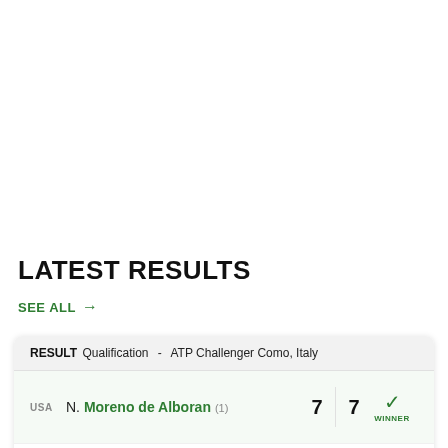LATEST RESULTS
SEE ALL →
| RESULT | Qualification | - | ATP Challenger Como, Italy |
| --- | --- | --- | --- |
| USA | N. Moreno de Alboran (1) | 7 | 7 | WINNER |
| ITA | F. Iannaccone | 6 | 5 |  |